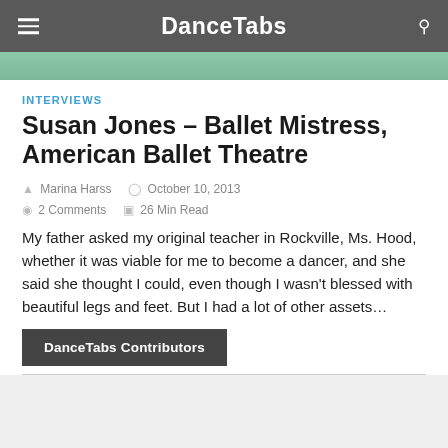DanceTabs
[Figure (photo): Partial photo strip showing top of a person's head, green background]
INTERVIEWS
Susan Jones – Ballet Mistress, American Ballet Theatre
Marina Harss   October 10, 2013
2 Comments   26 Min Read
My father asked my original teacher in Rockville, Ms. Hood, whether it was viable for me to become a dancer, and she said she thought I could, even though I wasn't blessed with beautiful legs and feet. But I had a lot of other assets...
DanceTabs Contributors